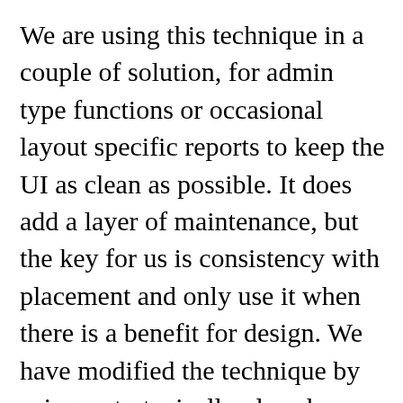We are using this technique in a couple of solution, for admin type functions or occasional layout specific reports to keep the UI as clean as possible. It does add a layer of maintenance, but the key for us is consistency with placement and only use it when there is a benefit for design. We have modified the technique by using a strategically placed button that calls a script to open the panel under it. This also adds a security layer. Scripts triggered from the panel, close the panel. We have found that by trying to work a layout to be